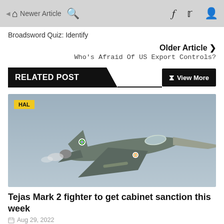Newer Article | Home | Search | Facebook | Twitter | User
Broadsword Quiz: Identify
Older Article ❯
Who's Afraid Of US Export Controls?
RELATED POST
View More
[Figure (photo): HAL Tejas Mark 2 fighter jet in flight against a grey sky, with Indian Air Force roundel markings visible. Yellow HAL badge in top-left corner.]
Tejas Mark 2 fighter to get cabinet sanction this week
Aug 29, 2022
[Figure (photo): Partial view of another article image with CHINA yellow badge label in bottom-left.]